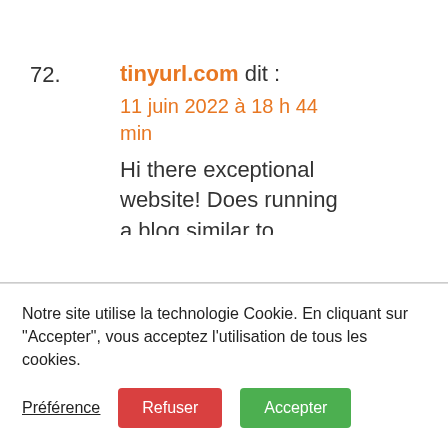72. tinyurl.com dit : 11 juin 2022 à 18 h 44 min — Hi there exceptional website! Does running a blog similar to this take a massive amount work? I've absolutely no
Notre site utilise la technologie Cookie. En cliquant sur "Accepter", vous acceptez l'utilisation de tous les cookies.
Préférence | Refuser | Accepter